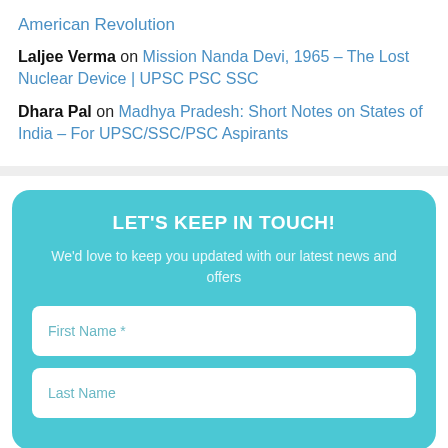American Revolution
Laljee Verma on Mission Nanda Devi, 1965 – The Lost Nuclear Device | UPSC PSC SSC
Dhara Pal on Madhya Pradesh: Short Notes on States of India – For UPSC/SSC/PSC Aspirants
LET'S KEEP IN TOUCH!
We'd love to keep you updated with our latest news and offers
First Name *
Last Name